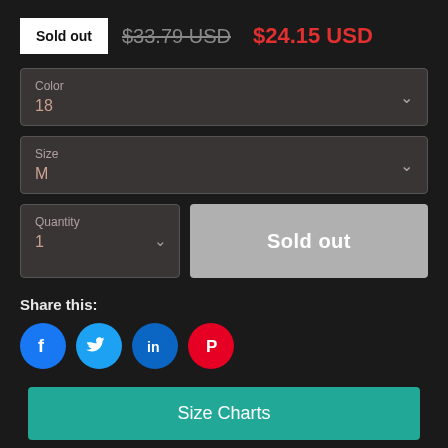Sold out  $33.79 USD  $24.15 USD
Color
18
Size
M
Quantity
1
Sold out
Share this:
[Figure (infographic): Four social media share buttons: Facebook (blue circle, F), Twitter (blue circle, bird), LinkedIn (blue circle, in), Pinterest (red circle, P logo)]
Size Charts
It's not just about the cool design that caught your eye (and the fact